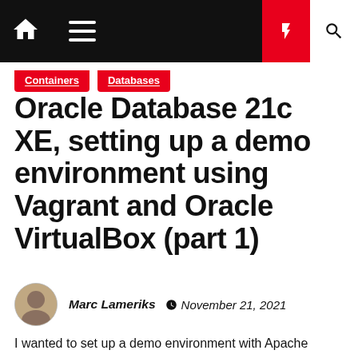Navigation bar with home, menu, bolt, and search icons
Containers
Databases
Oracle Database 21c XE, setting up a demo environment using Vagrant and Oracle VirtualBox (part 1)
Marc Lameriks  November 21, 2021
I wanted to set up a demo environment with Apache Kafka (an open-source distributed event streaming platform) and an Oracle Database, all within